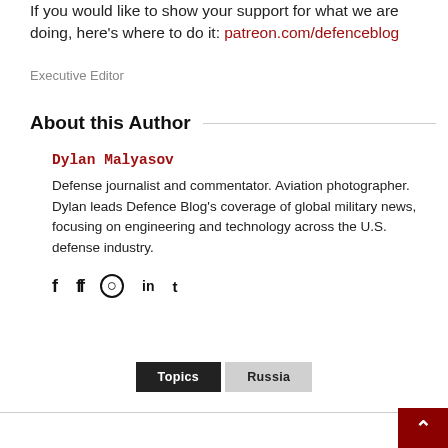If you would like to show your support for what we are doing, here's where to do it: patreon.com/defenceblog
Executive Editor
About this Author
Dylan Malyasov
Defense journalist and commentator. Aviation photographer. Dylan leads Defence Blog's coverage of global military news, focusing on engineering and technology across the U.S. defense industry.
[Figure (other): Social media icons: Facebook, Flickr, Instagram, LinkedIn, Twitter]
Topics  Russia
[Figure (other): Back to top button with upward arrow, dark red background]